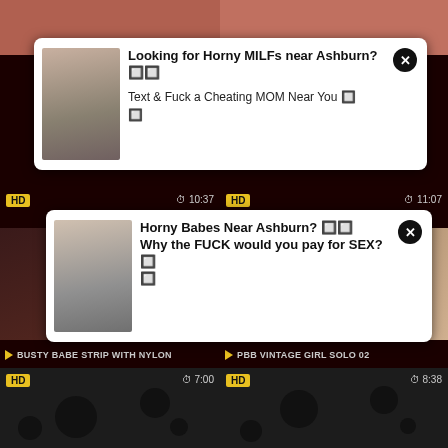[Figure (screenshot): Top strip with two video thumbnails]
[Figure (screenshot): Advertisement popup 1: Looking for Horny MILFs near Ashburn? Text & Fuck a Cheating MOM Near You]
[Figure (screenshot): Middle video row with HD badges and timestamps 10:37 and 11:07]
[Figure (screenshot): Advertisement popup 2: Horny Babes Near Ashburn? Why the FUCK would you pay for SEX?]
BUSTY BABE STRIP WITH NYLON
PBB VINTAGE GIRL SOLO 02
[Figure (screenshot): Bottom video thumbnails with HD badges, timestamps 7:00 and 8:38, dark background with circles]